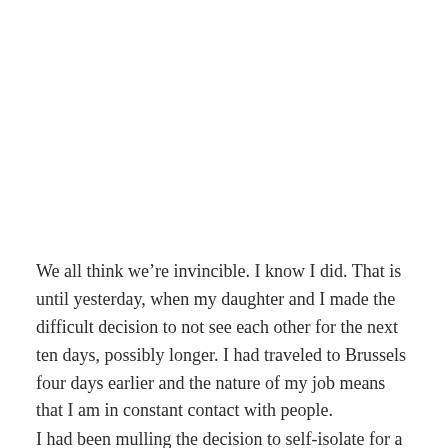We all think we’re invincible. I know I did. That is until yesterday, when my daughter and I made the difficult decision to not see each other for the next ten days, possibly longer. I had traveled to Brussels four days earlier and the nature of my job means that I am in constant contact with people.
I had been mulling the decision to self-isolate for a